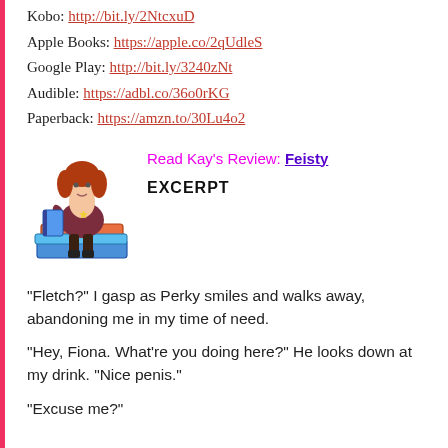B&N: http://bit.ly/2WtsqW7
Kobo: http://bit.ly/2NtcxuD
Apple Books: https://apple.co/2qUdleS
Google Play: http://bit.ly/3240zNt
Audible: https://adbl.co/36o0rKG
Paperback: https://amzn.to/30Lu4o2
[Figure (illustration): Cartoon avatar of a woman with red hair sitting on a stack of books, reading]
Read Kay's Review: Feisty
EXCERPT
“Fletch?” I gasp as Perky smiles and walks away, abandoning me in my time of need.
“Hey, Fiona. What’re you doing here?” He looks down at my drink. “Nice penis.”
“Excuse me?”